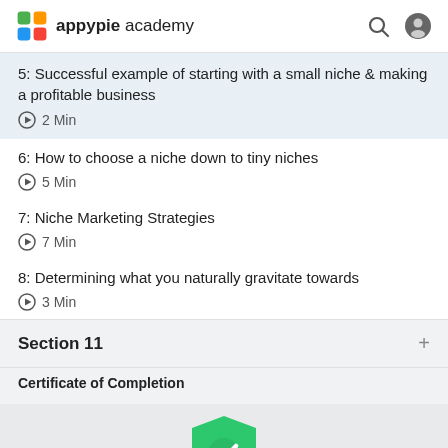appypie academy
5: Successful example of starting with a small niche & making a profitable business
▶ 2 Min
6: How to choose a niche down to tiny niches
▶ 5 Min
7: Niche Marketing Strategies
▶ 7 Min
8: Determining what you naturally gravitate towards
▶ 3 Min
Section 11
Certificate of Completion
[Figure (illustration): Green shield with white checkmark — certificate/completion badge icon, partially visible at bottom of page]